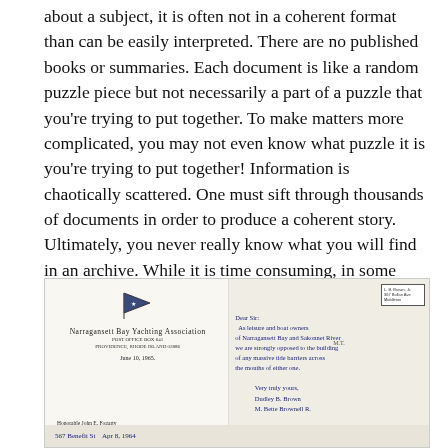about a subject, it is often not in a coherent format than can be easily interpreted. There are no published books or summaries. Each document is like a random puzzle piece but not necessarily a part of a puzzle that you're trying to put together. To make matters more complicated, you may not even know what puzzle it is you're trying to put together! Information is chaotically scattered. One must sift through thousands of documents in order to produce a coherent story. Ultimately, you never really know what you will find in an archive. While it is time consuming, in some ways the uncertainty creates an air of suspense that makes digging through boxes all day a bit more bearable.
[Figure (photo): Photographs of two historical letters/documents. Left: Official letterhead from Narragansett Bay Yachting Association with a pennant logo, dated June 10, 1965, addressed to Honorable John E. Fogarty, House of Representatives, Washington, D.C. Right: A handwritten letter with a postage address stamp in the upper right corner. Bottom strip shows handwritten text '567 Benefit St Apr 8, 1964'.]